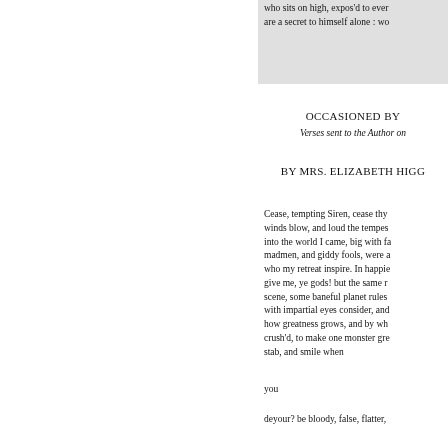who sits on high, expos'd to ever
are a secret to himself alone : wo
OCCASIONED BY
Verses sent to the Author on
BY MRS. ELIZABETH HIGG
Cease, tempting Siren, cease thy
winds blow, and loud the tempes
into the world I came, big with fa
madmen, and giddy fools, were a
who my retreat inspire. In happie
give me, ye gods! but the same r
scene, some baneful planet rules
with impartial eyes consider, and
how greatness grows, and by wh
crush'd, to make one monster gre
stab, and smile when
you
deyour? be bloody, false, flatter,